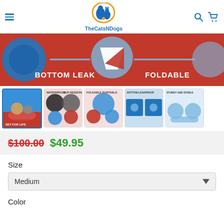TheCatsNDogs
[Figure (photo): Product photo of a portable foldable pet pool/bowl on red background with text 'BOTTOM LEAK' and 'FOLDABLE']
[Figure (photo): Row of 5 product thumbnail images showing different views and features of the pet pool]
$100.00 $49.95
Size
Medium
Color